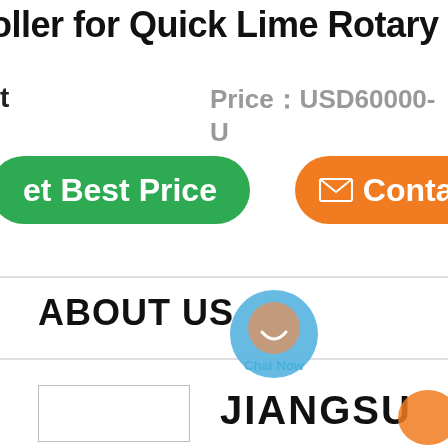oller for Quick Lime Rotary Kiln
t Price：USD60000-U
[Figure (infographic): Green 'Get Best Price' button on left, chat bubble widget in center, orange 'Contact' button on right]
ABOUT US
[Figure (logo): Company logo box (outlined rectangle)]
JIANGSU